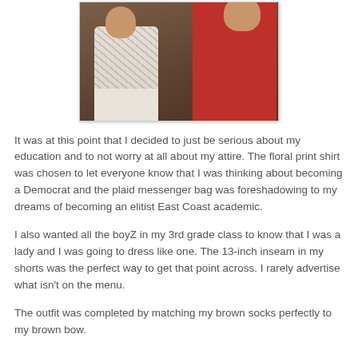[Figure (photo): Old photograph of two children — a girl in a floral print shirt and a taller person in a red shirt, standing together indoors.]
It was at this point that I decided to just be serious about my education and to not worry at all about my attire. The floral print shirt was chosen to let everyone know that I was thinking about becoming a Democrat and the plaid messenger bag was foreshadowing to my dreams of becoming an elitist East Coast academic.
I also wanted all the boyZ in my 3rd grade class to know that I was a lady and I was going to dress like one. The 13-inch inseam in my shorts was the perfect way to get that point across. I rarely advertise what isn't on the menu.
The outfit was completed by matching my brown socks perfectly to my brown bow.